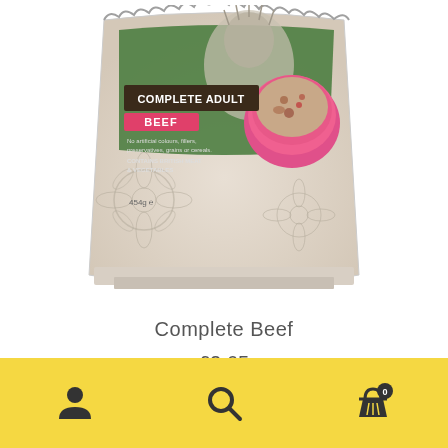[Figure (photo): Product photo of a dog food package labeled 'Complete Adult Beef' by Naturo. The bag shows a fluffy dog running and a pink bowl of dog food. Text on pack: No artificial colours, fillers, preservatives, grains or cereals. CONTAINS BRITISH MEAT & VEGETABLES. 454g.]
Complete Beef
£2.65
[Figure (infographic): Yellow bottom navigation bar with three icons: person/account icon, search/magnifying glass icon, and shopping basket icon with a badge showing 0.]